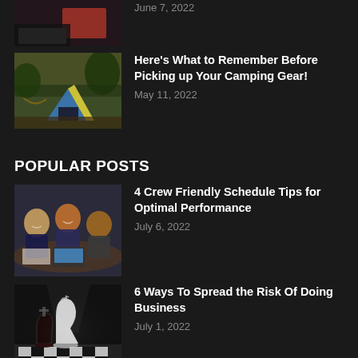[Figure (photo): Partial image of a car scene, cropped at top]
June 7, 2022
[Figure (photo): Camping tent in forest setting]
Here's What to Remember Before Picking up Your Camping Gear!
May 11, 2022
POPULAR POSTS
[Figure (photo): Three people at a meeting table with laptops]
4 Crew Friendly Schedule Tips for Optimal Performance
July 6, 2022
[Figure (photo): Chess pieces on a checkered board, black and white dramatic lighting]
6 Ways To Spread the Risk Of Doing Business
July 1, 2022